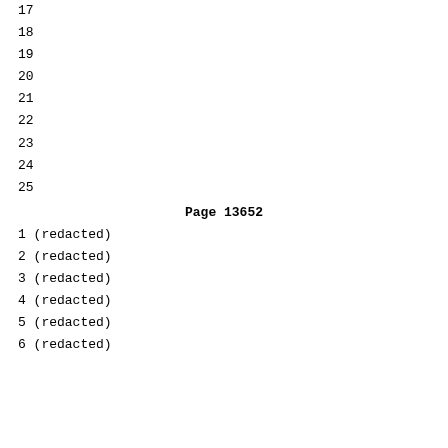17
18
19
20
21
22
23
24
25
Page 13652
1 (redacted)
2 (redacted)
3 (redacted)
4 (redacted)
5 (redacted)
6 (redacted)